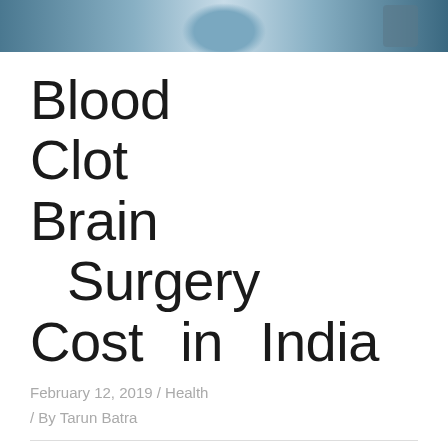[Figure (photo): Surgical scene showing medical staff in scrubs and surgical drapes in an operating room setting]
Blood Clot Brain Surgery Cost in India
February 12, 2019 / Health
/ By Tarun Batra
What is brain surgery?